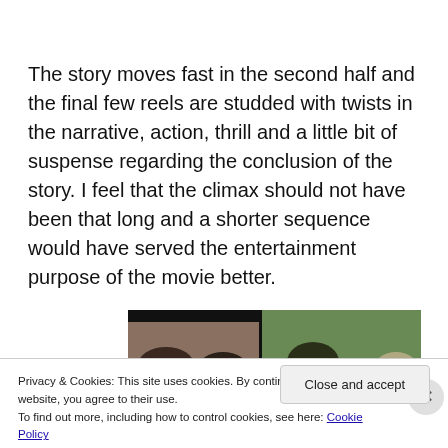The story moves fast in the second half and the final few reels are studded with twists in the narrative, action, thrill and a little bit of suspense regarding the conclusion of the story. I feel that the climax should not have been that long and a shorter sequence would have served the entertainment purpose of the movie better.
[Figure (photo): A screenshot from a movie showing people, split into two panels. Left panel shows two figures with dark hair from behind. Right panel shows a person facing forward with dark hair and another person partially visible on the right.]
Privacy & Cookies: This site uses cookies. By continuing to use this website, you agree to their use.
To find out more, including how to control cookies, see here: Cookie Policy
Close and accept